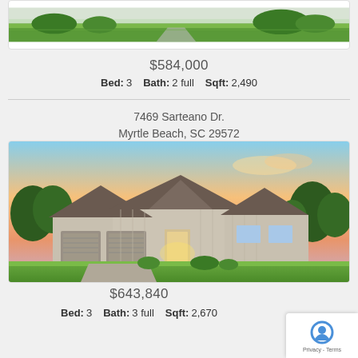[Figure (photo): Top of a house photo, showing green lawn and partial view of a new construction home with landscaping]
$584,000
Bed: 3    Bath: 2 full    Sqft: 2,490
7469 Sarteano Dr.
Myrtle Beach, SC 29572
[Figure (photo): Rendering of a single-story craftsman-style home with gray/beige board-and-batten siding, two-car garage, triangle rooflines, illuminated entry, colorful sunset sky, green lawn and landscaping]
$643,840
Bed: 3    Bath: 3 full    Sqft: 2,670